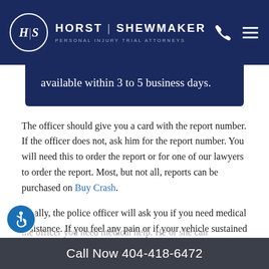HORST | SHEWMAKER — Personal Injury Trial Attorneys
available within 3 to 5 business days.
The officer should give you a card with the report number. If the officer does not, ask him for the report number. You will need this to order the report or for one of our lawyers to order the report. Most, but not all, reports can be purchased on Buy Crash.
Finally, the police officer will ask you if you need medical assistance. If you feel any pain or if your vehicle sustained significant damage, let the
the officer you need medical help. He or she can
Call Now 404-418-6472